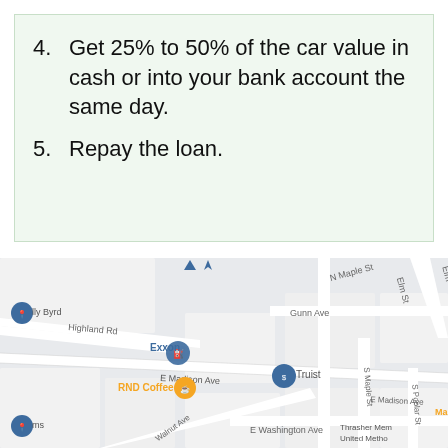4. Get 25% to 50% of the car value in cash or into your bank account the same day.
5. Repay the loan.
[Figure (map): Street map showing local area with landmarks: Exxon gas station, RND Coffee, Truist bank, and streets including N Maple St, E Madison Ave, E Washington Ave, Gunn Ave, Highland Rd, Walnut Ave, Elm St, S Maple St, S Poplar St. Also shows Thrasher Memorial United Methodist church and other locations.]